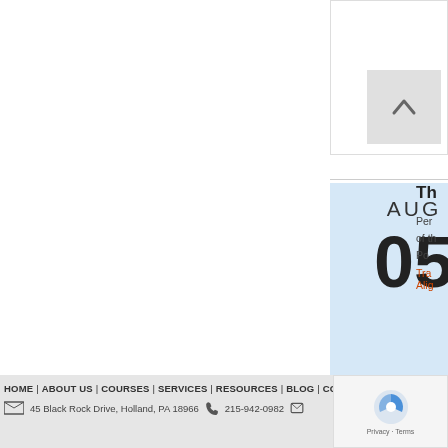[Figure (screenshot): Scroll-to-top button card with upward chevron arrow on light gray background]
[Figure (screenshot): Date card showing AUG 05 in blue background]
Th...
Per... of th... Po... Tra... Alig...
Tagged: achieve... optimal,
HOME | ABOUT US | COURSES | SERVICES | RESOURCES | BLOG | CON... | 45 Black Rock Drive, Holland, PA 18966 | 215-942-0982